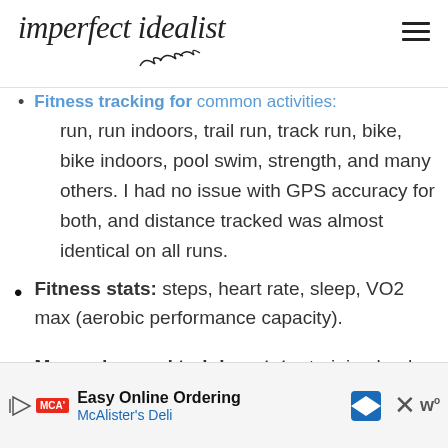imperfect idealist
Fitness tracking for common activities: run, run indoors, trail run, track run, bike, bike indoors, pool swim, strength, and many others. I had no issue with GPS accuracy for both, and distance tracked was almost identical on all runs.
Fitness stats: steps, heart rate, sleep, VO2 max (aerobic performance capacity).
More advanced training stats: training load (whether your training is a smart amount), recovery time, aerobic and
Easy Online Ordering McAlister's Deli